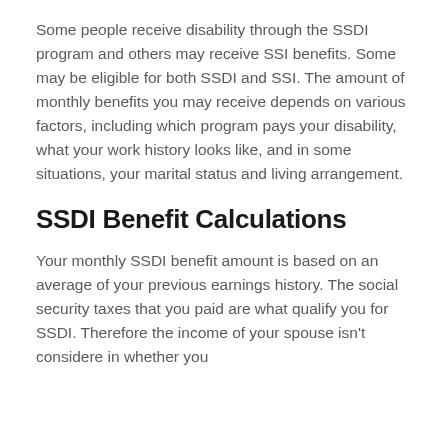Some people receive disability through the SSDI program and others may receive SSI benefits. Some may be eligible for both SSDI and SSI. The amount of monthly benefits you may receive depends on various factors, including which program pays your disability, what your work history looks like, and in some situations, your marital status and living arrangement.
SSDI Benefit Calculations
Your monthly SSDI benefit amount is based on an average of your previous earnings history. The social security taxes that you paid are what qualify you for SSDI. Therefore the income of your spouse isn't considere in whether you